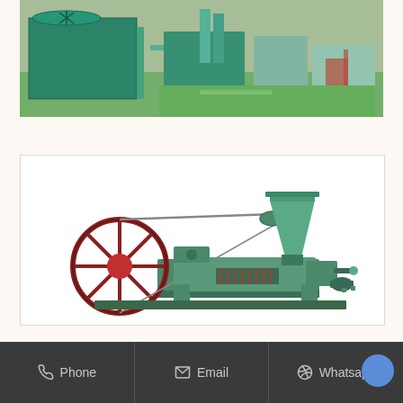[Figure (photo): Aerial view of industrial oil refinery facility with green cooling tower, pipes, buildings, and green lawn area]
0.5t Mini Edible Oil Refinary
[Figure (photo): Green-painted oil press / screw press machine with red flywheel, hopper funnel, and mechanical components on white background]
Phone   Email   Whatsapp